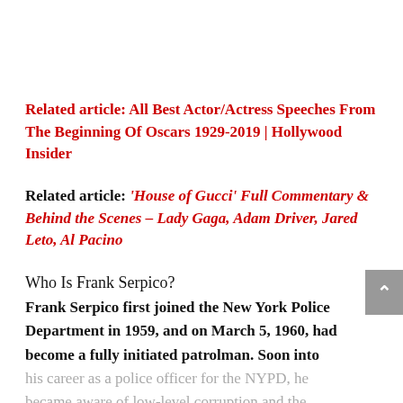Related article: All Best Actor/Actress Speeches From The Beginning Of Oscars 1929-2019 | Hollywood Insider
Related article: ‘House of Gucci’ Full Commentary & Behind the Scenes – Lady Gaga, Adam Driver, Jared Leto, Al Pacino
Who Is Frank Serpico?
Frank Serpico first joined the New York Police Department in 1959, and on March 5, 1960, had become a fully initiated patrolman. Soon into his career as a police officer for the NYPD, he became aware of low-level corruption and the